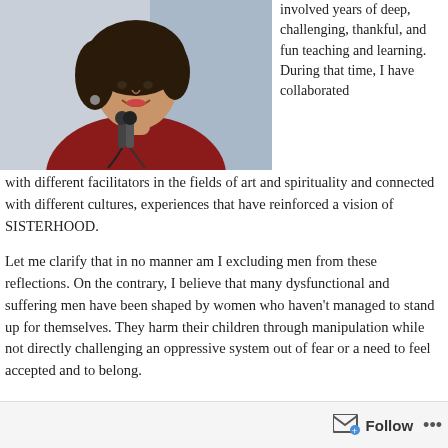[Figure (photo): Woman with curly dark hair speaking into a microphone, wearing a dark red top, photographed against a light background.]
involved years of deep, challenging, thankful, and fun teaching and learning. During that time, I have collaborated with different facilitators in the fields of art and spirituality and connected with different cultures, experiences that have reinforced a vision of SISTERHOOD.
Let me clarify that in no manner am I excluding men from these reflections. On the contrary, I believe that many dysfunctional and suffering men have been shaped by women who haven't managed to stand up for themselves. They harm their children through manipulation while not directly challenging an oppressive system out of fear or a need to feel accepted and to belong.
Follow ...